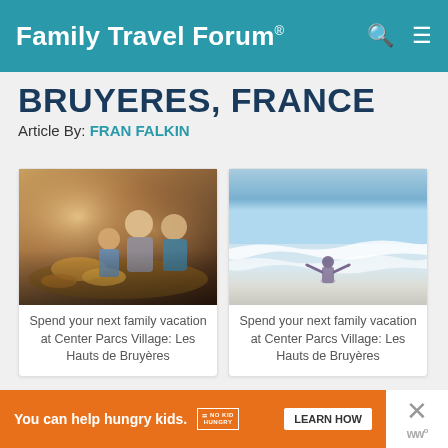Family Travel Forum®
BRUYERES, FRANCE
Article By: FRAN FALKIN
[Figure (photo): Family at a table with bread and food, indoor kitchen or bakery setting]
Spend your next family vacation at Center Parcs Village: Les Hauts de Bruyères
[Figure (photo): Person standing in shallow ocean waves on a beach, blue sky and sea]
Spend your next family vacation at Center Parcs Village: Les Hauts de Bruyères
You can help hungry kids. NO KID HUNGRY LEARN HOW